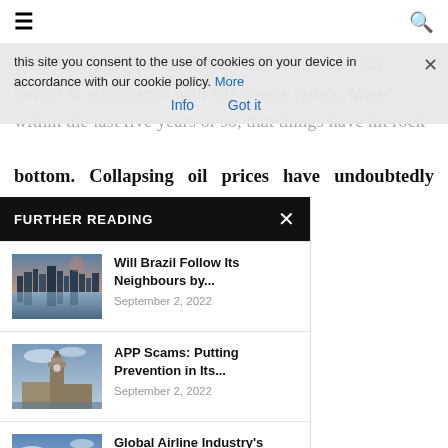Navigation bar with hamburger menu and search icon
this site you consent to the use of cookies on your device in accordance with our cookie policy. More Info Got it
bottom. Collapsing oil prices have undoubtedly played ny of such a disastrous Venezuela has among the ves of any country in the Revenue from petroleum e than 50 percent of roduct (GDP), as well as a al exports. The country is ducing member of OPEC um Exporting Countries). such a wealth of natural la's over-dependency on
FURTHER READING
[Figure (photo): City skyline at dusk reflected in water (Brisbane/Melbourne cityscape)]
Will Brazil Follow Its Neighbours by...
September 2, 2022
[Figure (photo): Big Ben and Houses of Parliament, London]
APP Scams: Putting Prevention in Its...
September 2, 2022
[Figure (photo): Commercial airplane flying through blue sky with clouds]
Global Airline Industry's Forecasts Brighten as...
September 1, 2022